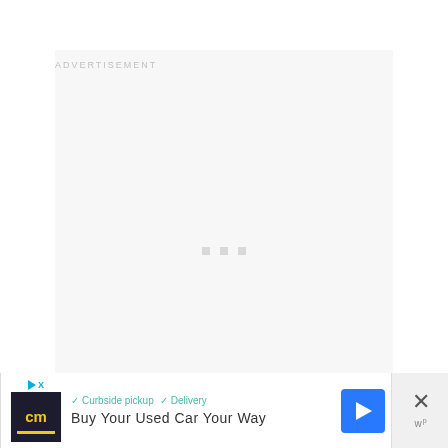[Figure (other): Advertisement placeholder box with 'ADVERTISEMENT' label at top and three small gray dots in the center, light gray background]
[Figure (other): Bottom banner advertisement showing CarMax (cm) logo, checkmarks for 'Curbside pickup' and 'Delivery', text 'Buy Your Used Car Your Way', a blue navigation arrow icon, and a close (X) button with 'w p' branding]